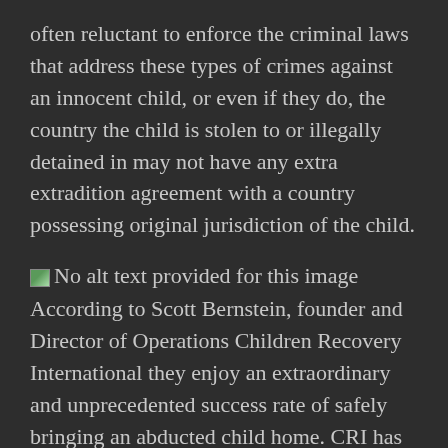often reluctant to enforce the criminal laws that address these types of crimes against an innocent child, or even if they do, the country the child is stolen to or illegally detained in may not have any extra extradition agreement with a country possessing original jurisdiction of the child.
[Figure (photo): Small image thumbnail with no alt text provided]
According to Scott Bernstein, founder and Director of Operations Children Recovery International they enjoy an extraordinary and unprecedented success rate of safely bringing an abducted child home. CRI has been assisting victimized parents of international child abduction for a long time. We have been directly involved with over 1200 safe international child recovery and reunifications,